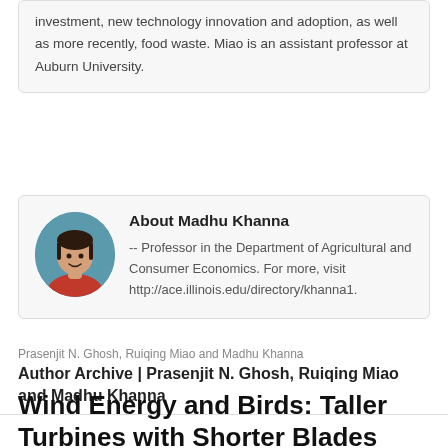investment, new technology innovation and adoption, as well as more recently, food waste. Miao is an assistant professor at Auburn University.
About Madhu Khanna
-- Professor in the Department of Agricultural and Consumer Economics. For more, visit http://ace.illinois.edu/directory/khanna1.
Prasenjit N. Ghosh, Ruiqing Miao and Madhu Khanna
Author Archive | Prasenjit N. Ghosh, Ruiqing Miao and Madhu Khanna
Wind Energy and Birds: Taller Turbines with Shorter Blades